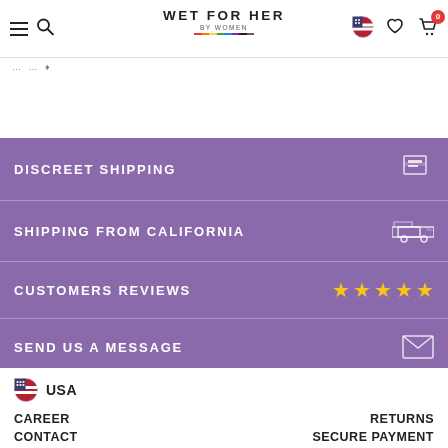WET FOR HER BY WOMEN — Navigation header with hamburger, search, logo, flag, wishlist, cart
breadcrumb navigation
DISCREET SHIPPING
SHIPPING FROM CALIFORNIA
CUSTOMERS REVIEWS
SEND US A MESSAGE
USA
CAREER
RETURNS
CONTACT
SECURE PAYMENT